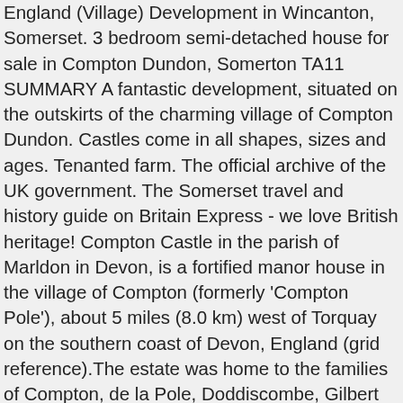England (Village) Development in Wincanton, Somerset. 3 bedroom semi-detached house for sale in Compton Dundon, Somerton TA11 SUMMARY A fantastic development, situated on the outskirts of the charming village of Compton Dundon. Castles come in all shapes, sizes and ages. Tenanted farm. The official archive of the UK government. The Somerset travel and history guide on Britain Express - we love British heritage! Compton Castle in the parish of Marldon in Devon, is a fortified manor house in the village of Compton (formerly 'Compton Pole'), about 5 miles (8.0 km) west of Torquay on the southern coast of Devon, England (grid reference).The estate was home to the families of Compton, de la Pole, Doddiscombe, Gilbert and Templer. Pick yours! £695,000 . Get access to the new build houses from the UK's top developers. Visit Primelocation.com for property details Find: somerton properties for sale at the best prices 6,149 results We couldn't find what you're looking for right now. It has been put on the market for £20million - although it is also available in separate lots. See our a wide range of residential properties for sale in and around the Somerset areas. We